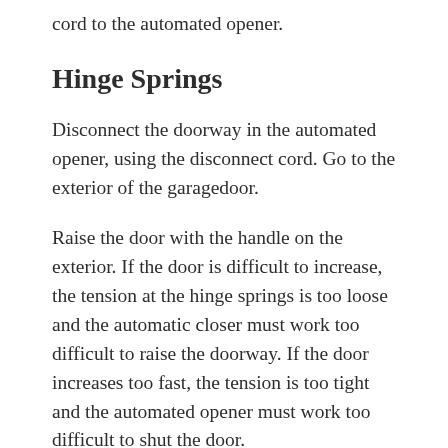cord to the automated opener.
Hinge Springs
Disconnect the doorway in the automated opener, using the disconnect cord. Go to the exterior of the garagedoor.
Raise the door with the handle on the exterior. If the door is difficult to increase, the tension at the hinge springs is too loose and the automatic closer must work too difficult to raise the doorway. If the door increases too fast, the tension is too tight and the automated opener must work too difficult to shut the door.
Open the door fully to relieve the tension on